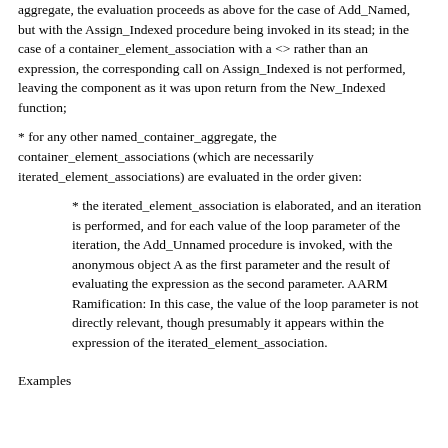aggregate, the evaluation proceeds as above for the case of Add_Named, but with the Assign_Indexed procedure being invoked in its stead; in the case of a container_element_association with a <> rather than an expression, the corresponding call on Assign_Indexed is not performed, leaving the component as it was upon return from the New_Indexed function;
* for any other named_container_aggregate, the container_element_associations (which are necessarily iterated_element_associations) are evaluated in the order given:
* the iterated_element_association is elaborated, and an iteration is performed, and for each value of the loop parameter of the iteration, the Add_Unnamed procedure is invoked, with the anonymous object A as the first parameter and the result of evaluating the expression as the second parameter. AARM Ramification: In this case, the value of the loop parameter is not directly relevant, though presumably it appears within the expression of the iterated_element_association.
Examples